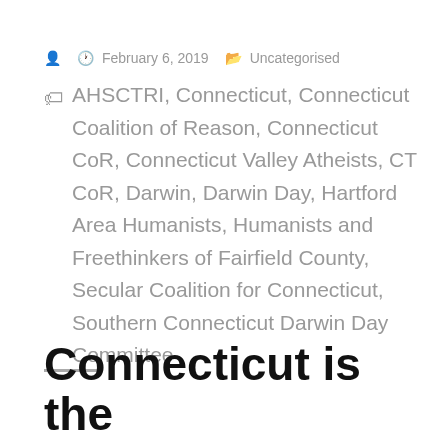February 6, 2019   Uncategorised
AHSCTRI, Connecticut, Connecticut Coalition of Reason, Connecticut CoR, Connecticut Valley Atheists, CT CoR, Darwin, Darwin Day, Hartford Area Humanists, Humanists and Freethinkers of Fairfield County, Secular Coalition for Connecticut, Southern Connecticut Darwin Day Committee
Connecticut is the